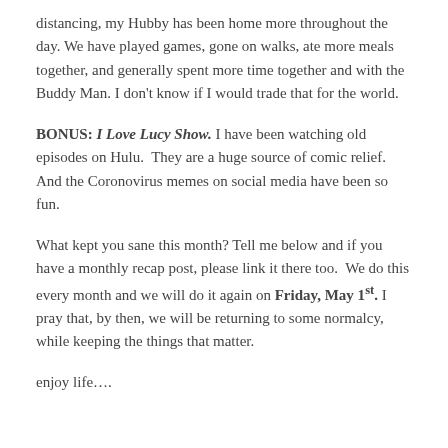distancing, my Hubby has been home more throughout the day. We have played games, gone on walks, ate more meals together, and generally spent more time together and with the Buddy Man. I don't know if I would trade that for the world.
BONUS: I Love Lucy Show. I have been watching old episodes on Hulu. They are a huge source of comic relief. And the Coronovirus memes on social media have been so fun.
What kept you sane this month? Tell me below and if you have a monthly recap post, please link it there too. We do this every month and we will do it again on Friday, May 1st. I pray that, by then, we will be returning to some normalcy, while keeping the things that matter.
enjoy life….